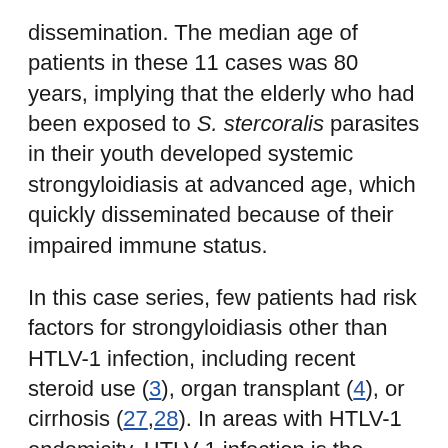dissemination. The median age of patients in these 11 cases was 80 years, implying that the elderly who had been exposed to S. stercoralis parasites in their youth developed systemic strongyloidiasis at advanced age, which quickly disseminated because of their impaired immune status.
In this case series, few patients had risk factors for strongyloidiasis other than HTLV-1 infection, including recent steroid use (3), organ transplant (4), or cirrhosis (27,28). In areas with HTLV-1 endemicity, HTLV-1 infection is the major risk factor for both chronic strongyloidiasis and dissemination (29). Although diabetes mellitus has been reported to be a risk factor for strongyloidiasis treatment failure (30), the prevalence in our series remained low.
Considering the mortality rates and the various